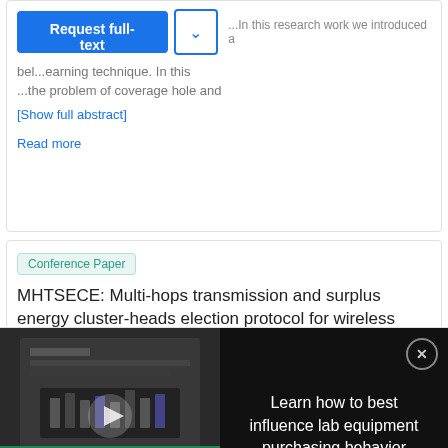...in routing broadcasts and a machine learning technique. In this research work we introduced a technique...problem of coverage hole and
[Show full abstract]
Read more
Conference Paper
MHTSECE: Multi-hops transmission and surplus energy cluster-heads election protocol for wireless sen...
[Figure (screenshot): Video player overlay showing lab equipment with text 'LEARN HOW TO BEST INFLUENCE LAB EQUIPMENT PURCHASING BEHAVIOR' and a play button]
Learn how to best influence lab equipment purchasing behavior
[Figure (logo): Thermo Fisher Scientific logo]
Next-generation sequencing advances reproductive health research